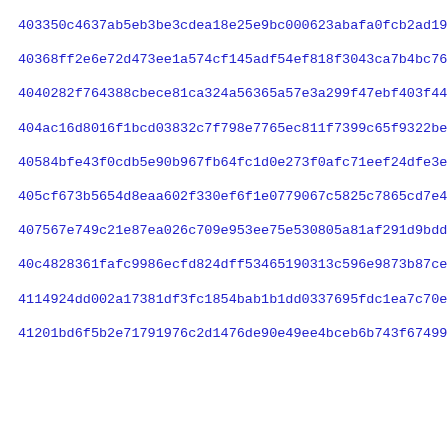403350c4637ab5eb3be3cdea18e25e9bc000623abafa0fcb2ad191c2104ca
40368ff2e6e72d473ee1a574cf145adf54ef818f3043ca7b4bc76c85224b9
4040282f764388cbece81ca324a56365a57e3a299f47ebf403f44d04fa6c3
404ac16d8016f1bcd03832c7f798e7765ec811f7399c65f9322bea11ff542
40584bfe43f0cdb5e90b967fb64fc1d0e273f0afc71eef24dfe3e25a36ae5
405cf673b5654d8eaa602f330ef6f1e0779067c5825c7865cd7e429c3b022
407567e749c21e87ea026c709e953ee75e530805a81af291d9bdd04b87de1
40c4828361fafc9986ecfd824dff53465190313c596e9873b87ce2dfa3531
4114924dd002a17381df3fc1854bab1b1dd0337695fdc1ea7c70e9f028eae
41201bd6f5b2e71791976c2d1476de90e49ee4bceb6b743f67499bc50442c